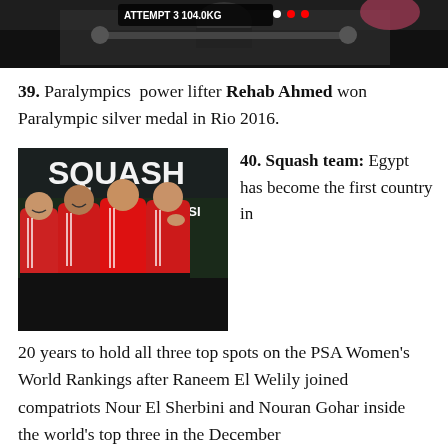[Figure (photo): A Paralympic powerlifter on a competition stage, screen showing 'Attempt 3 104.0kg' with score indicators]
39.  Paralympics  power lifter Rehab Ahmed won Paralympic silver medal in Rio 2016.
[Figure (photo): Egypt women's squash team in red jackets celebrating in front of a SQUASH WSF banner]
40. Squash team: Egypt has become the first country in 20 years to hold all three top spots on the PSA Women's World Rankings after Raneem El Welily joined compatriots Nour El Sherbini and Nouran Gohar inside the world's top three in the December